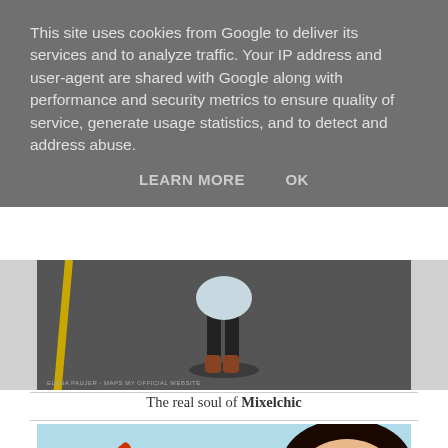This site uses cookies from Google to deliver its services and to analyze traffic. Your IP address and user-agent are shared with Google along with performance and security metrics to ensure quality of service, generate usage statistics, and to detect and address abuse.
LEARN MORE    OK
[Figure (photo): Overhead view of a person standing on a road with a yellow line, wearing orange/brown boots and dark pants, with a jacket. Small image credit text visible at bottom left.]
The real soul of Mixelchic
[Figure (photo): A young woman drinking from a red Mixelchic branded soda can, with a light blue/teal background.]